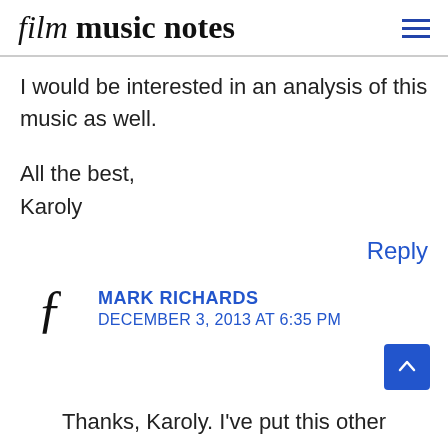film music notes
I would be interested in an analysis of this music as well.

All the best,
Karoly
Reply
MARK RICHARDS
DECEMBER 3, 2013 AT 6:35 PM
Thanks, Karoly. I've put this other